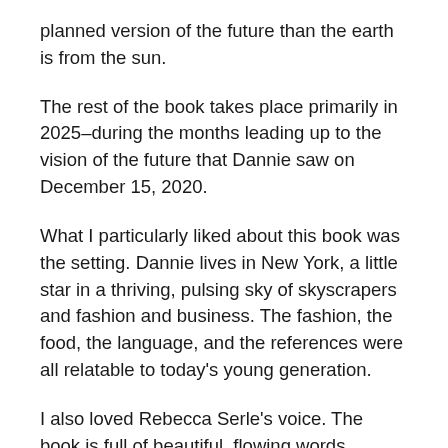planned version of the future than the earth is from the sun.
The rest of the book takes place primarily in 2025–during the months leading up to the vision of the future that Dannie saw on December 15, 2020.
What I particularly liked about this book was the setting. Dannie lives in New York, a little star in a thriving, pulsing sky of skyscrapers and fashion and business. The fashion, the food, the language, and the references were all relatable to today's young generation.
I also loved Rebecca Serle's voice. The book is full of beautiful, flowing words interluded with sharp, short sentences brimming with emotion. Her descriptions–of food, characters, emotions–are incredibly detailed and vivid, and I think the reader is whisked to the land...